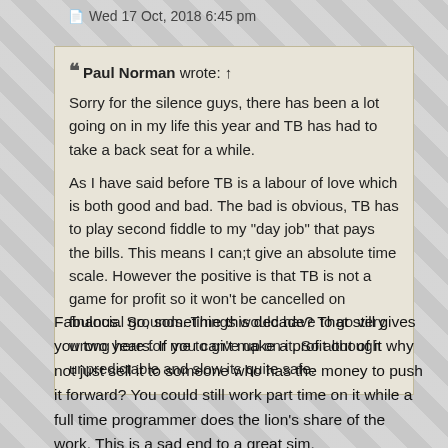Wed 17 Oct, 2018 6:45 pm
Paul Norman wrote: ↑
Sorry for the silence guys, there has been a lot going on in my life this year and TB has had to take a back seat for a while.

As I have said before TB is a labour of love which is both good and bad. The bad is obvious, TB has to play second fiddle to my "day job" that pays the bills. This means I can;t give an absolute time scale. However the positive is that TB is not a game for profit so it won't be cancelled on financial grounds. Things would have to go very wrong here for me to give up on it. So although unpredictable and slow its quite safe.
Fabulous. So, sometime this decade? That still gives you two years. If you can't make a profit out of it why not just sell it to someone who has the money to push it forward? You could still work part time on it while a full time programmer does the lion's share of the work. This is a sad end to a great sim.